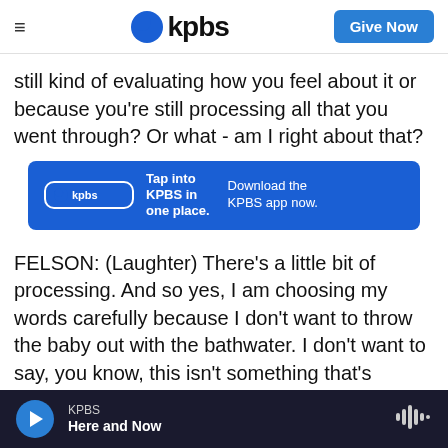kpbs | Give Now
still kind of evaluating how you feel about it or because you're still processing all that you went through? Or what - am I right about that?
[Figure (infographic): KPBS app promotion banner: 'Tap into KPBS in one place. Download the KPBS app now.']
FELSON: (Laughter) There's a little bit of processing. And so yes, I am choosing my words carefully because I don't want to throw the baby out with the bathwater. I don't want to say, you know, this isn't something that's workable. And I don't think it's good enough for me to just look at, you
KPBS | Here and Now